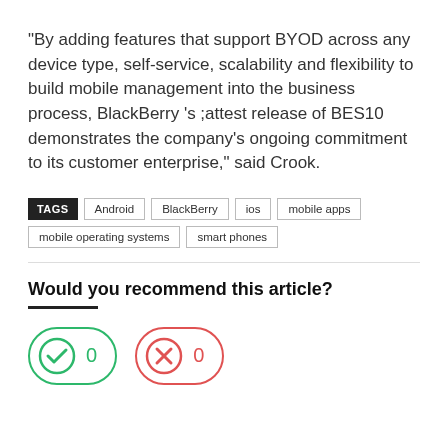“By adding features that support BYOD across any device type, self-service, scalability and flexibility to build mobile management into the business process, BlackBerry ’s ;attest release of BES10 demonstrates the company’s ongoing commitment to its customer enterprise,” said Crook.
TAGS  Android  BlackBerry  ios  mobile apps  mobile operating systems  smart phones
Would you recommend this article?
[Figure (infographic): Two vote buttons: a green rounded pill with a green checkmark icon and the number 0, and a red/pink rounded pill with a red X icon and the number 0.]